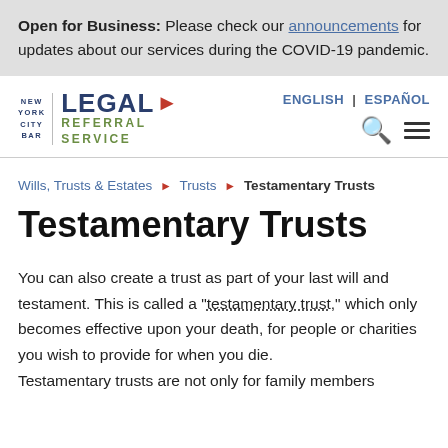Open for Business: Please check our announcements for updates about our services during the COVID-19 pandemic.
[Figure (logo): New York City Bar Legal Referral Service logo with green and blue text and red arrow]
ENGLISH | ESPAÑOL
Wills, Trusts & Estates ▶ Trusts ▶ Testamentary Trusts
Testamentary Trusts
You can also create a trust as part of your last will and testament. This is called a "testamentary trust," which only becomes effective upon your death, for people or charities you wish to provide for when you die. Testamentary trusts are not only for family members